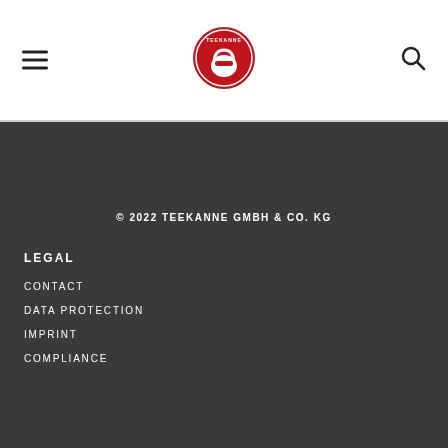[Figure (logo): Teekanne logo - red circular badge with kettlebell and year 1882]
© 2022 TEEKANNE GMBH & CO. KG
LEGAL
CONTACT
DATA PROTECTION
IMPRINT
COMPLIANCE